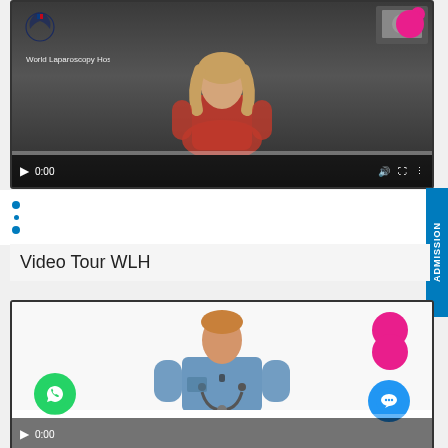[Figure (screenshot): Video player showing World Laparoscopy Hospital content with a woman in red top, video controls showing 0:00 timestamp]
[Figure (screenshot): Navigation dots/bullets area with white background]
Video Tour WLH
[Figure (screenshot): Video player showing a doctor in blue scrubs with stethoscope, WhatsApp green circle icon bottom left, blue chat circle bottom right, pink circles top right, video controls showing 0:00 timestamp]